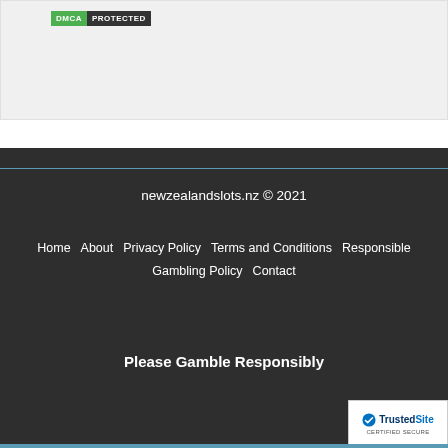[Figure (logo): DMCA Protected badge with green DMCA label and dark PROTECTED label]
newzealandslots.nz © 2021
Home  About  Privacy Policy  Terms and Conditions  Responsible Gambling Policy  Contact
Please Gamble Responsibly
[Figure (logo): TrustedSite Certified Secure badge with checkmark]